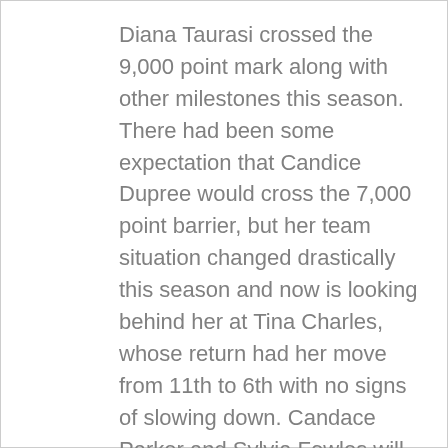Diana Taurasi crossed the 9,000 point mark along with other milestones this season.  There had been some expectation that Candice Dupree would cross the 7,000 point barrier, but her team situation changed drastically this season and now is looking behind her at Tina Charles, whose return had her move from 11th to 6th with no signs of slowing down.  Candace Parker and Sylvia Fowles will be looking at the next year when they battle to reach 6,000 points first.  DeWanna Bonner should also reach that mark next year with Angel McCoughtry hoping to get there with a return to full health.  Tiffany Hayes and Skylar Diggins-Smith are the two newest players to this list.